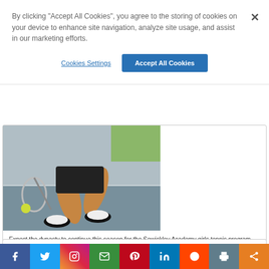By clicking "Accept All Cookies", you agree to the storing of cookies on your device to enhance site navigation, analyze site usage, and assist in our marketing efforts.
Cookies Settings
Accept All Cookies
[Figure (photo): Legs of a tennis player mid-run on a court, with a tennis racket and ball visible]
Expect the dynasty to continue this season for the Sewickley Academy girls tennis program. Since 2008, the SA netters have ...
Continue Reading »
everybody shops
1# Assorted Chocolate Covered Nuts
[Figure (infographic): Social media share bar with icons: Facebook, Twitter, Instagram, Email, Pinterest, LinkedIn, Reddit, Print, Share]